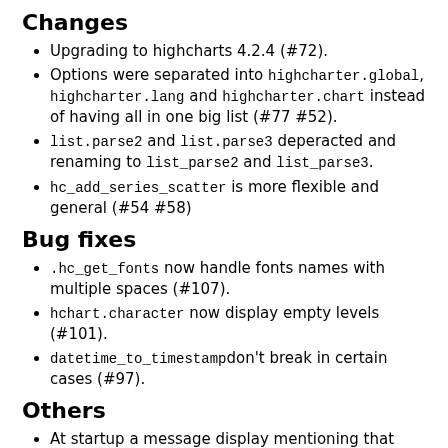Changes
Upgrading to highcharts 4.2.4 (#72).
Options were separated into highcharter.global, highcharter.lang and highcharter.chart instead of having all in one big list (#77 #52).
list.parse2 and list.parse3 deperacted and renaming to list_parse2 and list_parse3.
hc_add_series_scatter is more flexible and general (#54 #58)
Bug fixes
.hc_get_fonts now handle fonts names with multiple spaces (#107).
hchart.character now display empty levels (#101).
datetime_to_timestampdon't break in certain cases (#97).
Others
At startup a message display mentioning that highchart, highstock and highmaps are not free for commercial and Governmental use.